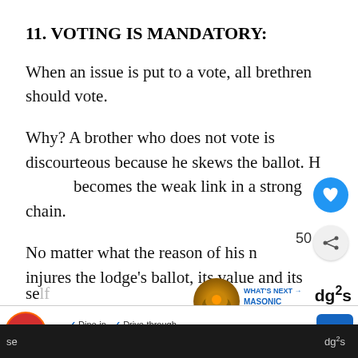11. VOTING IS MANDATORY:
When an issue is put to a vote, all brethren should vote.
Why? A brother who does not vote is discourteous because he skews the ballot. He becomes the weak link in a strong chain.
No matter what the reason of his not voting, he injures the lodge's ballot, its value and its strength.
[Figure (screenshot): Social media UI overlay with heart/like button (blue circle), share button, '50' count label, and 'WHAT'S NEXT → MASONIC DEGREE...' recommendation panel with thumbnail]
[Figure (screenshot): Burger King advertisement bar at bottom: Dine-in, Drive-through, Delivery options with blue navigation arrow icon]